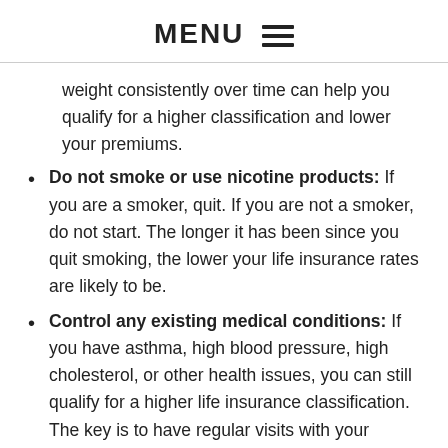MENU ☰
weight consistently over time can help you qualify for a higher classification and lower your premiums.
Do not smoke or use nicotine products: If you are a smoker, quit. If you are not a smoker, do not start. The longer it has been since you quit smoking, the lower your life insurance rates are likely to be.
Control any existing medical conditions: If you have asthma, high blood pressure, high cholesterol, or other health issues, you can still qualify for a higher life insurance classification. The key is to have regular visits with your doctor, take your medications as directed, and follow your doctor's advice for controlling the condition.